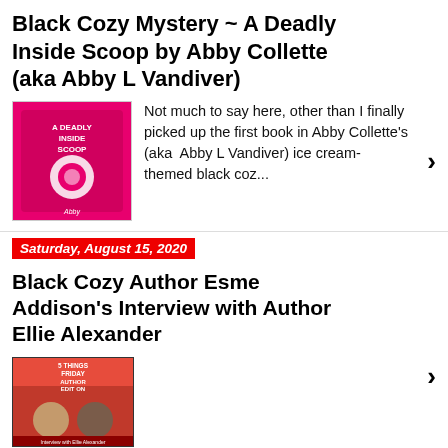Black Cozy Mystery ~ A Deadly Inside Scoop by Abby Collette (aka Abby L Vandiver)
Not much to say here, other than I finally picked up the first book in Abby Collette's (aka  Abby L Vandiver) ice cream-themed black coz...
Saturday, August 15, 2020
Black Cozy Author Esme Addison's Interview with Author Ellie Alexander
Tuesday, July 21, 2020
We Got Some NEW Black Mysteries Up in HERE!